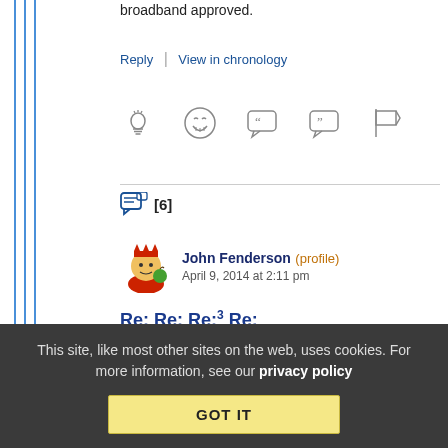broadband approved.
Reply | View in chronology
[Figure (infographic): Row of reaction/action icon buttons: lightbulb, laughing face, left-quote bubble, right-quote bubble, flag]
[6] (replies count with icon)
John Fenderson (profile)   April 9, 2014 at 2:11 pm
Re: Re: Re:³ Re:
You're talking like a logical human being, not like an
This site, like most other sites on the web, uses cookies. For more information, see our privacy policy GOT IT